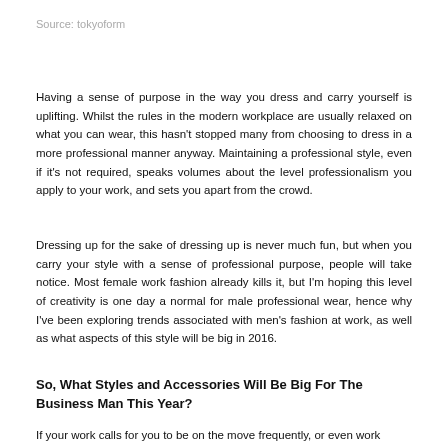Source: tokyoform
Having a sense of purpose in the way you dress and carry yourself is uplifting. Whilst the rules in the modern workplace are usually relaxed on what you can wear, this hasn't stopped many from choosing to dress in a more professional manner anyway. Maintaining a professional style, even if it's not required, speaks volumes about the level professionalism you apply to your work, and sets you apart from the crowd.
Dressing up for the sake of dressing up is never much fun, but when you carry your style with a sense of professional purpose, people will take notice. Most female work fashion already kills it, but I'm hoping this level of creativity is one day a normal for male professional wear, hence why I've been exploring trends associated with men's fashion at work, as well as what aspects of this style will be big in 2016.
So, What Styles and Accessories Will Be Big For The Business Man This Year?
If your work calls for you to be on the move frequently, or even work outside